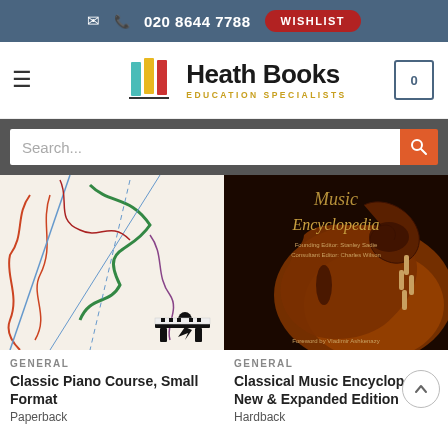✉ 📞 020 8644 7788  WISHLIST
Heath Books EDUCATION SPECIALISTS
Search...
[Figure (photo): Book cover of Classic Piano Course, Small Format — abstract colourful line drawing of a pianist]
GENERAL
Classic Piano Course, Small Format
Paperback
[Figure (photo): Book cover of Classical Music Encyclopedia: New & Expanded Edition — close-up photo of violin scroll with text 'Music Encyclopedia, Founding Editor: Stanley Sadie, Consultant Editor: Charles Wilson, Foreword by Vladimir Ashkenazy']
GENERAL
Classical Music Encyclopedia: New & Expanded Edition
Hardback